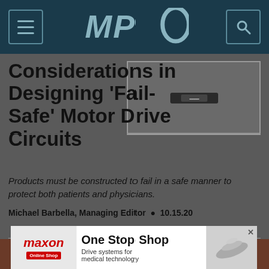MPO
[Figure (photo): Small rectangular electronic component (motor drive circuit) on dark background]
Considerations in Designing 'Fail-Safe' Motor Drive Circuits
Products must be constructed to fail in a safe manner to protect both patients and physicians.
Michael Barbella, Managing Editor  •  10.15.20
[Figure (infographic): Maxon One Stop Shop advertisement banner - Drive systems for medical technology]